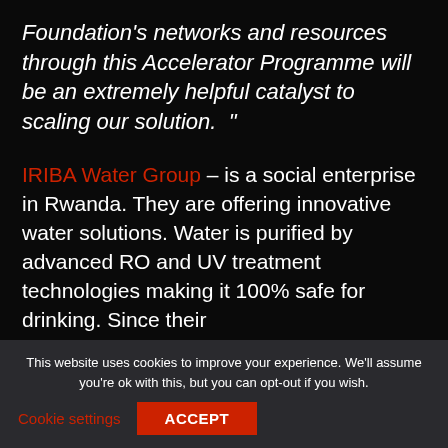Foundation's networks and resources through this Accelerator Programme will be an extremely helpful catalyst to scaling our solution. "
IRIBA Water Group – is a social enterprise in Rwanda. They are offering innovative water solutions. Water is purified by advanced RO and UV treatment technologies making it 100% safe for drinking. Since their
This website uses cookies to improve your experience. We'll assume you're ok with this, but you can opt-out if you wish.
Cookie settings   ACCEPT